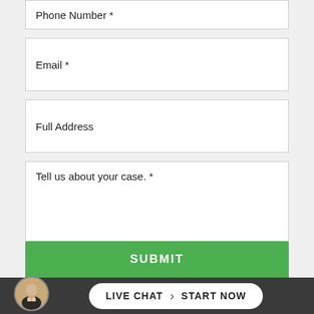Phone Number *
Email *
Full Address
Tell us about your case. *
*Required field. We respect your privacy.
SUBMIT
LIVE CHAT  START NOW